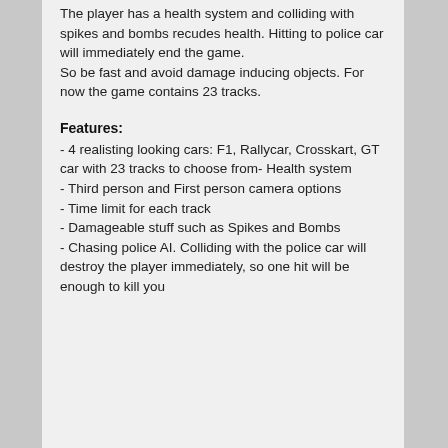The player has a health system and colliding with spikes and bombs recudes health. Hitting to police car will immediately end the game.
So be fast and avoid damage inducing objects. For now the game contains 23 tracks.
Features:
- 4 realisting looking cars: F1, Rallycar, Crosskart, GT car with 23 tracks to choose from- Health system
- Third person and First person camera options
- Time limit for each track
- Damageable stuff such as Spikes and Bombs
- Chasing police AI. Colliding with the police car will destroy the player immediately, so one hit will be enough to kill you